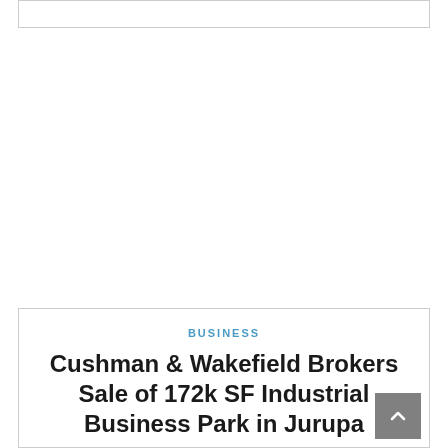[Figure (other): Empty top border box placeholder area]
BUSINESS
Cushman & Wakefield Brokers Sale of 172k SF Industrial Business Park in Jurupa